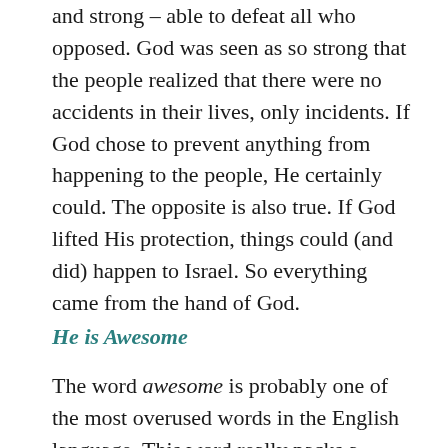and strong – able to defeat all who opposed. God was seen as so strong that the people realized that there were no accidents in their lives, only incidents. If God chose to prevent anything from happening to the people, He certainly could. The opposite is also true. If God lifted His protection, things could (and did) happen to Israel. So everything came from the hand of God.
He is Awesome
The word awesome is probably one of the most overused words in the English language. This word really packs a punch. We